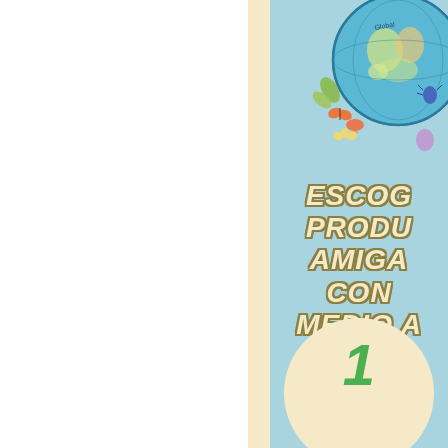[Figure (illustration): Partial view of a colorful educational poster in Spanish. Left side is white, a cream vertical strip separates it from the right panel which has a light blue background. On the right panel, there is an illustrated globe at the top right surrounded by nature/biodiversity icons. Below the globe are large bold italic letters partially visible reading 'ESCOG... PRODU... AMIGA... CON... MEDIO A...' (Escoge productos amigables con el medio ambiente). At the bottom is a circular beige shape with a large green number visible.]
ESCOGE PRODUCTOS AMIGABLES CON EL MEDIO AMBIENTE